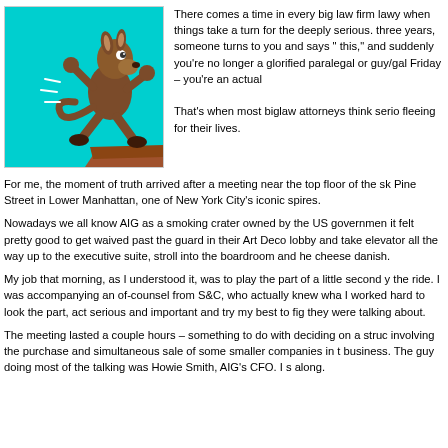[Figure (illustration): Cartoon Wile E. Coyote running off the edge of a cliff against a cyan/turquoise background]
There comes a time in every big law firm lawyer's life when things take a turn for the deeply serious. After two or three years, someone turns to you and says "you're handling this," and suddenly you're no longer a glorified paralegal or guy/gal Friday – you're an actual lawyer. That's when most biglaw attorneys think seriously about fleeing for their lives.
For me, the moment of truth arrived after a meeting near the top floor of the skyscraper at 70 Pine Street in Lower Manhattan, one of New York City's iconic spires.
Nowadays we all know AIG as a smoking crater owned by the US government, but back then it felt pretty good to get waived past the guard in their Art Deco lobby and take the express elevator all the way up to the executive suite, stroll into the boardroom and help yourself to a cheese danish.
My job that morning, as I understood it, was to play the part of a little second year along for the ride. I was accompanying an of-counsel from S&C, who actually knew what was going on. I worked hard to look the part, act serious and important and try my best to figure out what they were talking about.
The meeting lasted a couple hours – something to do with deciding on a structure involving the purchase and simultaneous sale of some smaller companies in the insurance business. The guy doing most of the talking was Howie Smith, AIG's CFO. I scribbled notes along.